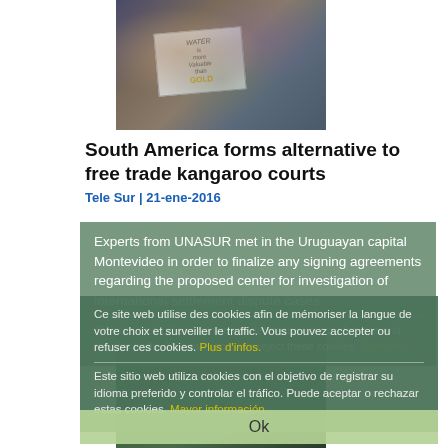[Figure (photo): Protesters holding a sign reading 'WATER is more Valuable than GOLD' with people in background]
South America forms alternative to free trade kangaroo courts
Tele Sur | 21-ene-2016
Experts from UNASUR met in the Uruguayan capital Montevideo in order to finalize any signing agreements regarding the proposed center for investigation of international settlement dispute cases.
This site web utilises cookies to determine your preference and monitor traffic. You can accept or reject these cookies. More info.
Ce site web utilise des cookies afin de mémoriser la langue de votre choix et surveiller le traffic. Vous pouvez accepter ou refuser ces cookies. Plus d'infos.
Este sitio web utiliza cookies con el objetivo de registrar su idioma preferido y controlar el tráfico. Puede aceptar o rechazar estas cookies. Mayor información.
Ok
[Figure (photo): People with raised fists at a rally or protest, tinted green]